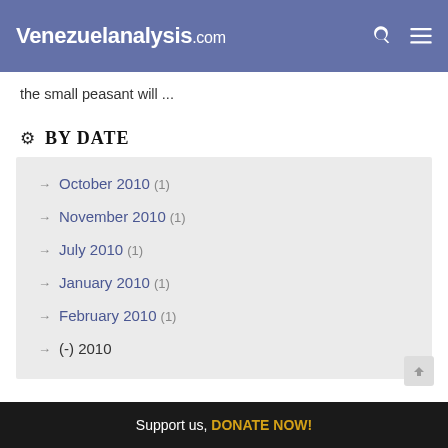Venezuelanalysis.com
the small peasant will ...
BY DATE
October 2010 (1)
November 2010 (1)
July 2010 (1)
January 2010 (1)
February 2010 (1)
(-) 2010
Support us, DONATE NOW!